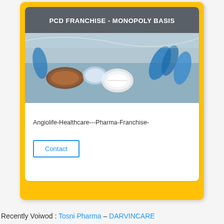PCD FRANCHISE - MONOPOLY BASIS
[Figure (photo): Close-up photo of various pharmaceutical pills, capsules and blister packs in blue and brown colors]
Angiolife-Healthcare---Pharma-Franchise-
Contact
Recently Voiwod : Tosni Pharma DARVINCARE